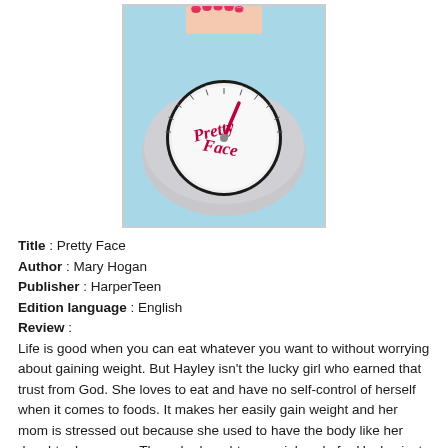[Figure (illustration): Book cover of 'Pretty Face' by Mary Hogan showing a bathroom scale with the text 'Pretty Face' on its dial face, with feet with red nail polish stepping on it, against a light blue background.]
Title : Pretty Face
Author : Mary Hogan
Publisher : HarperTeen
Edition language : English
Review :
Life is good when you can eat whatever you want to without worrying about gaining weight. But Hayley isn't the lucky girl who earned that trust from God. She loves to eat and have no self-control of herself when it comes to foods. It makes her easily gain weight and her mom is stressed out because she used to have the body like her daughter have now. Then she bought a special scale for Hayley just to remind her about her weight.